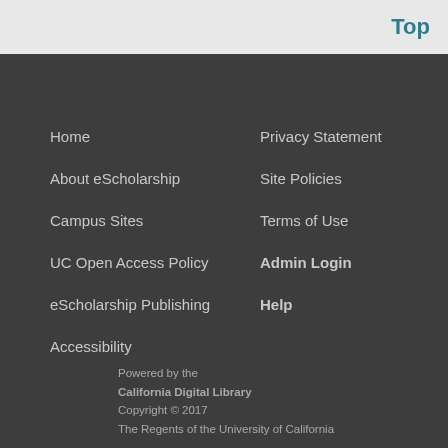Top
Home
About eScholarship
Campus Sites
UC Open Access Policy
eScholarship Publishing
Accessibility
Privacy Statement
Site Policies
Terms of Use
Admin Login
Help
Powered by the California Digital Library Copyright © 2017 The Regents of the University of California